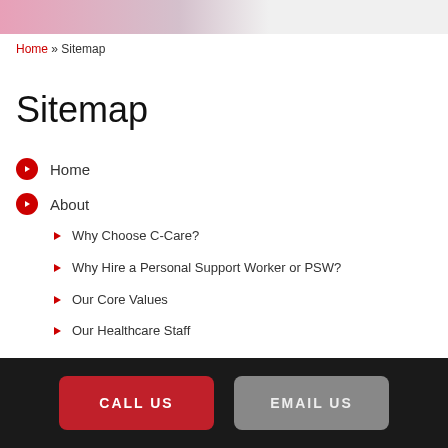[Figure (photo): Top banner image strip showing partial pink/purple tones]
Home » Sitemap
Sitemap
Home
About
Why Choose C-Care?
Why Hire a Personal Support Worker or PSW?
Our Core Values
Our Healthcare Staff
Services
CALL US   EMAIL US